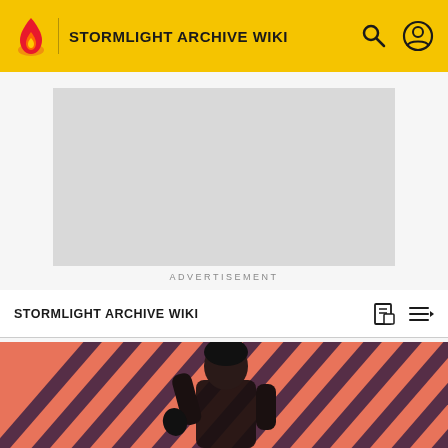STORMLIGHT ARCHIVE WIKI
[Figure (other): Advertisement placeholder grey rectangle]
ADVERTISEMENT
STORMLIGHT ARCHIVE WIKI
Stormfather
EDIT
[Figure (illustration): Bottom decorative strip with diagonal coral/dark purple stripes and a person figure silhouette]